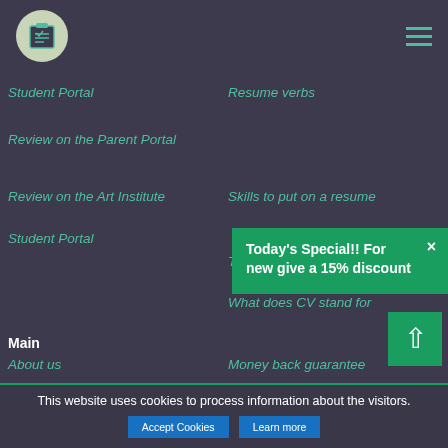[Figure (logo): Circular logo with checklist/notepad icon in green tones on dark background header, with hamburger menu icon on the right]
Student Portal
Resume verbs
Review on the Parent Portal
[Figure (screenshot): Green popup overlay: "Today's Special!! For new give a 15% discount" with X close button]
Review on the Art Institute
Skills to put on a resume
Student Portal
Thesis statement definition
What does CV stand for
Main
About us
Money back guarantee
This website uses cookies to process information about the visitors.
Accept Cookies
Learn more